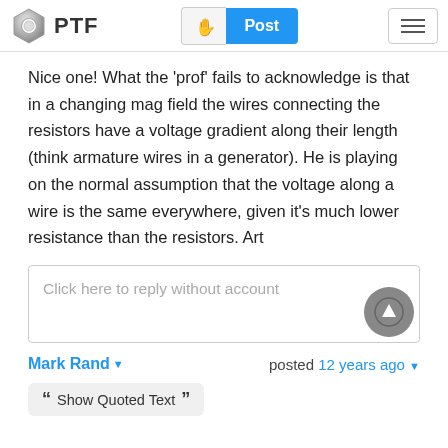PTF | Post
Nice one! What the 'prof' fails to acknowledge is that in a changing mag field the wires connecting the resistors have a voltage gradient along their length (think armature wires in a generator). He is playing on the normal assumption that the voltage along a wire is the same everywhere, given it's much lower resistance than the resistors. Art
Click here to reply without account
Mark Rand  posted 12 years ago
Show Quoted Text